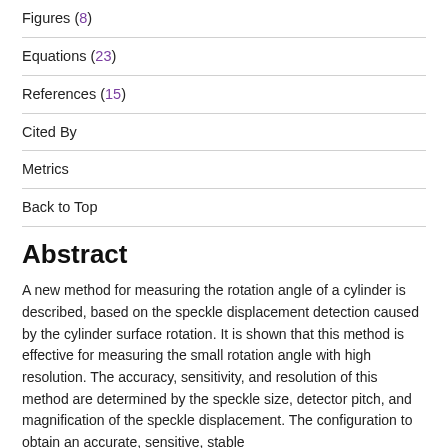Figures (8)
Equations (23)
References (15)
Cited By
Metrics
Back to Top
Abstract
A new method for measuring the rotation angle of a cylinder is described, based on the speckle displacement detection caused by the cylinder surface rotation. It is shown that this method is effective for measuring the small rotation angle with high resolution. The accuracy, sensitivity, and resolution of this method are determined by the speckle size, detector pitch, and magnification of the speckle displacement. The configuration to obtain an accurate, sensitive, stable